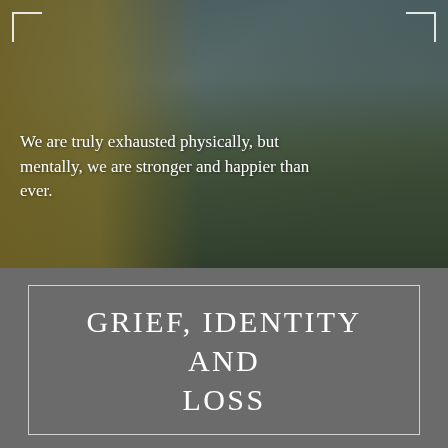[Figure (photo): Outdoor photo of a woman smiling, wearing a yellow jacket, with a landscape background showing a river or lake, grass, and a partly cloudy sky. The photo has a dark overlay and white corner bracket decorations.]
We are truly exhausted physically, but mentally, we are stronger and happier than ever.
GRIEF, IDENTITY AND LOSS